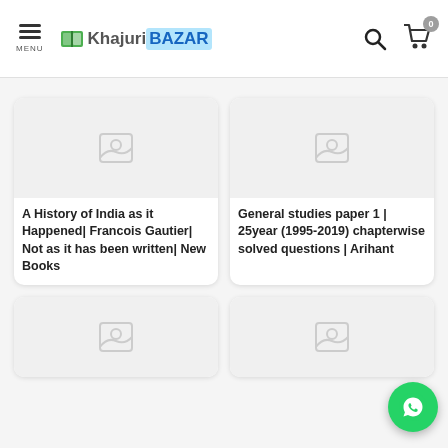Khajuri Bazar — MENU, Search, Cart (0)
[Figure (screenshot): Product card with placeholder image — A History of India as it Happened| Francois Gautier| Not as it has been written| New Books]
A History of India as it Happened| Francois Gautier| Not as it has been written| New Books
[Figure (screenshot): Product card with placeholder image — General studies paper 1 | 25year (1995-2019) chapterwise solved questions | Arihant]
General studies paper 1 | 25year (1995-2019) chapterwise solved questions | Arihant
[Figure (screenshot): Product card with placeholder image — lower left, partially visible]
[Figure (screenshot): Product card with placeholder image — lower right, partially visible]
[Figure (illustration): WhatsApp floating button (green circle with phone icon)]